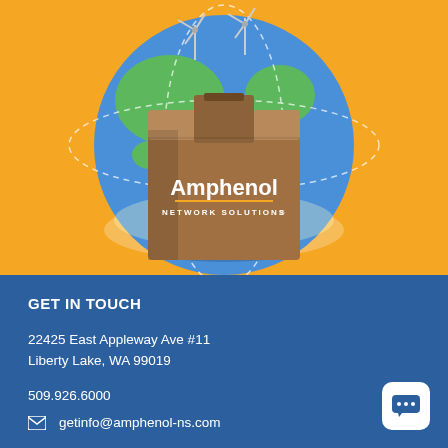[Figure (illustration): Amphenol Network Solutions logo on a cardboard shipping box, placed in front of a globe on a golden/amber background with dashed circular orbit lines]
GET IN TOUCH
22425 East Appleway Ave #11
Liberty Lake, WA 99019
509.926.6000
getinfo@amphenol-ns.com